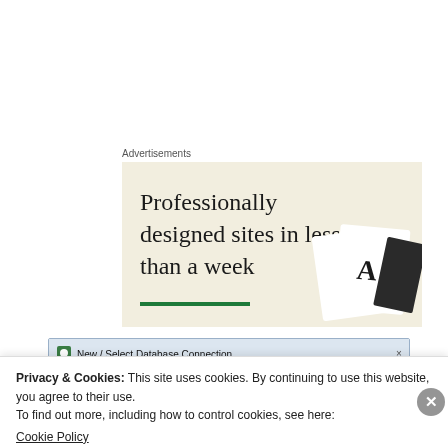Advertisements
[Figure (illustration): Advertisement banner with beige/cream background showing text 'Professionally designed sites in less than a week' with a green underline bar and decorative card images on the right side.]
[Figure (screenshot): Partial screenshot of a 'New / Select Database Connection' dialog with columns for Connection Name, Connection Details, and Connection Status.]
Privacy & Cookies: This site uses cookies. By continuing to use this website, you agree to their use.
To find out more, including how to control cookies, see here:
Cookie Policy
Close and accept